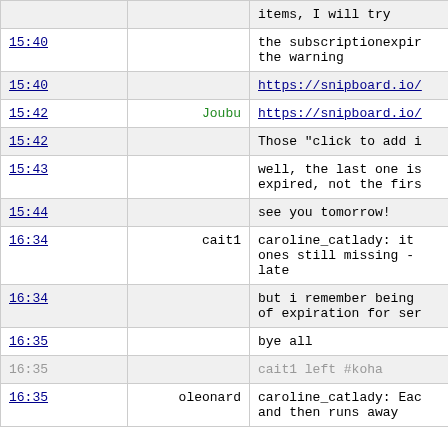| Time | User | Message |
| --- | --- | --- |
|  |  | items, I will try |
| 15:40 |  | the subscriptionexpir...
the warning |
| 15:40 |  | https://snipboard.io/... |
| 15:42 | Joubu | https://snipboard.io/... |
| 15:42 |  | Those "click to add i... |
| 15:43 |  | well, the last one is
expired, not the firs... |
| 15:44 |  | see you tomorrow! |
| 16:34 | cait1 | caroline_catlady: it ...
ones still missing - ...
late |
| 16:34 |  | but i remember being ...
of expiration for ser... |
| 16:35 |  | bye all |
| 16:35 |  | cait1 left #koha |
| 16:35 | oleonard | caroline_catlady: Eac...
and then runs away... |